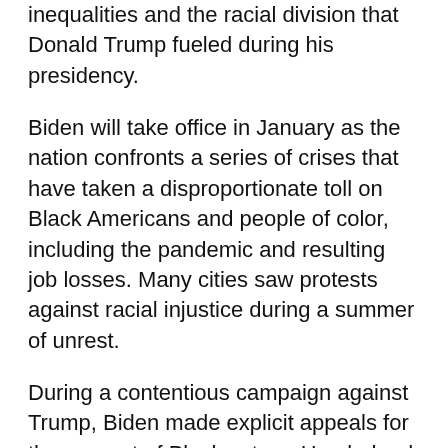inequalities and the racial division that Donald Trump fueled during his presidency.
Biden will take office in January as the nation confronts a series of crises that have taken a disproportionate toll on Black Americans and people of color, including the pandemic and resulting job losses. Many cities saw protests against racial injustice during a summer of unrest.
During a contentious campaign against Trump, Biden made explicit appeals for the support of Black voters. He pledged to unify the country, acknowledged systemic racism, criticized his rival for stoking division and picked Kamala Harris as his running mate, making her the first Black